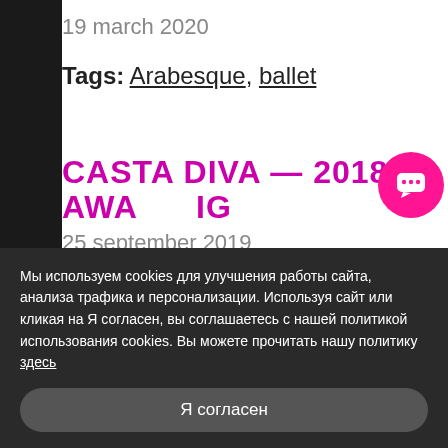19 march 2020
Tags: Arabesque, ballet
CASTA DIVA — 2018. AWAITING
25 september 2019
Tags: Jeanne au bûcher, Teode…
Мы используем cookies для улучшения работы сайта, анализа трафика и персонализации. Используя сайт или кликая на Я согласен, вы соглашаетесь с нашей политикой использования cookies. Вы можете прочитать нашу политику здесь
Я согласен